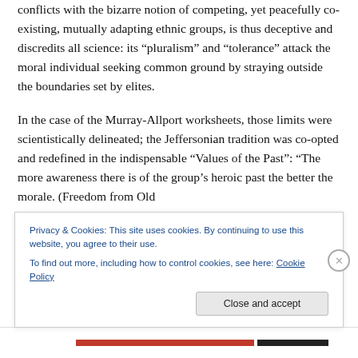conflicts with the bizarre notion of competing, yet peacefully co-existing, mutually adapting ethnic groups, is thus deceptive and discredits all science: its “pluralism” and “tolerance” attack the moral individual seeking common ground by straying outside the boundaries set by elites.
In the case of the Murray-Allport worksheets, those limits were scientistically delineated; the Jeffersonian tradition was co-opted and redefined in the indispensable “Values of the Past”: “The more awareness there is of the group’s heroic past the better the morale. (Freedom from Old
Privacy & Cookies: This site uses cookies. By continuing to use this website, you agree to their use.
To find out more, including how to control cookies, see here: Cookie Policy